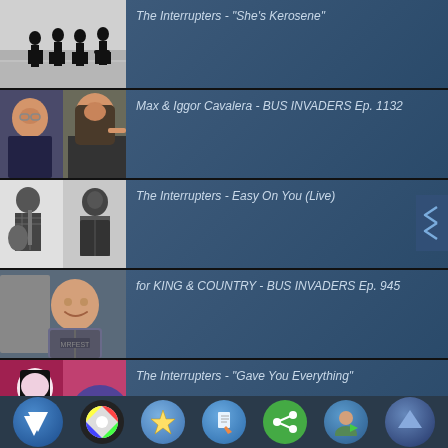The Interrupters - "She's Kerosene"
Max & Iggor Cavalera - BUS INVADERS Ep. 1132
The Interrupters - Easy On You (Live)
for KING & COUNTRY - BUS INVADERS Ep. 945
The Interrupters - "Gave You Everything"